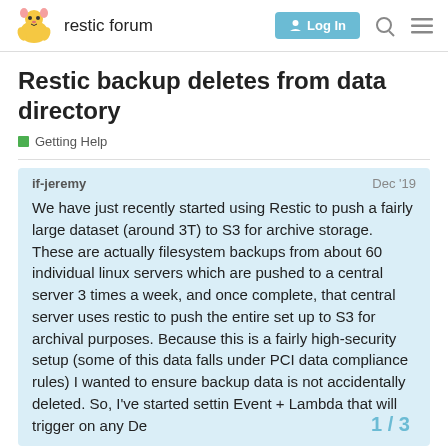restic forum
Restic backup deletes from data directory
Getting Help
if-jeremy
Dec '19
We have just recently started using Restic to push a fairly large dataset (around 3T) to S3 for archive storage. These are actually filesystem backups from about 60 individual linux servers which are pushed to a central server 3 times a week, and once complete, that central server uses restic to push the entire set up to S3 for archival purposes. Because this is a fairly high-security setup (some of this data falls under PCI data compliance rules) I wanted to ensure backup data is not accidentally deleted. So, I've started settin Event + Lambda that will trigger on any De
1 / 3